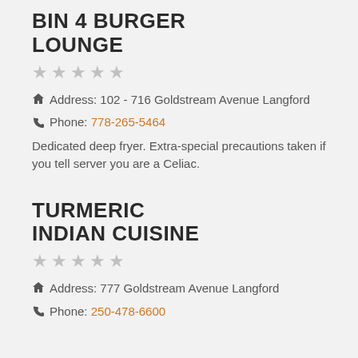BIN 4 BURGER LOUNGE
Address: 102 - 716 Goldstream Avenue Langford
Phone: 778-265-5464
Dedicated deep fryer. Extra-special precautions taken if you tell server you are a Celiac.
TURMERIC INDIAN CUISINE
Address: 777 Goldstream Avenue Langford
Phone: 250-478-6600